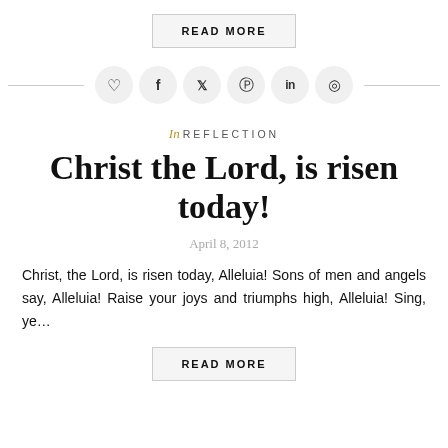READ MORE
[Figure (infographic): Social sharing icon buttons: heart/like, Facebook, Twitter, Pinterest, LinkedIn, Reddit — circular grey buttons in a row with horizontal lines on either side]
In REFLECTION
Christ the Lord, is risen today!
April 8, 2012
Christ, the Lord, is risen today, Alleluia! Sons of men and angels say, Alleluia! Raise your joys and triumphs high, Alleluia! Sing, ye…
READ MORE